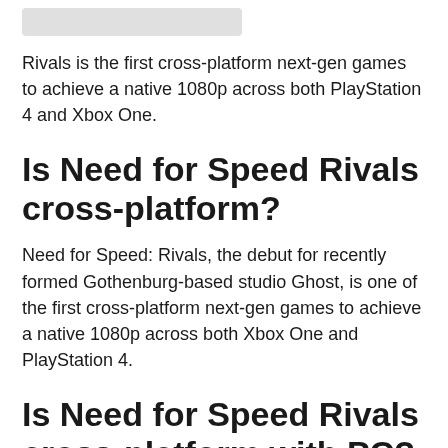[Figure (other): Partial image/logo at top of page, cropped]
Rivals is the first cross-platform next-gen games to achieve a native 1080p across both PlayStation 4 and Xbox One.
Is Need for Speed Rivals cross-platform?
Need for Speed: Rivals, the debut for recently formed Gothenburg-based studio Ghost, is one of the first cross-platform next-gen games to achieve a native 1080p across both Xbox One and PlayStation 4.
Is Need for Speed Rivals cross-platform with PC?